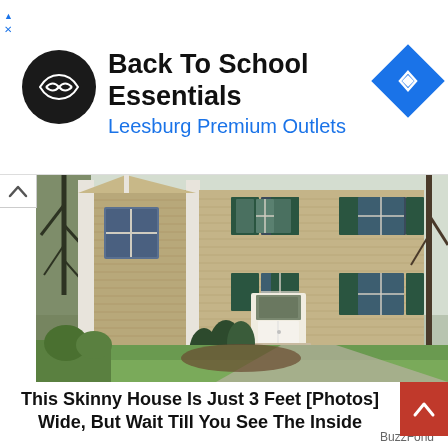[Figure (infographic): Ad banner: Back To School Essentials at Leesburg Premium Outlets, with circular logo and navigation arrow icon]
Back To School Essentials
Leesburg Premium Outlets
[Figure (photo): Exterior photo of a two-story beige/tan house with green shutters, white front door, and landscaping including evergreen shrubs and trees]
This Skinny House Is Just 3 Feet [Photos] Wide, But Wait Till You See The Inside
BuzzFond